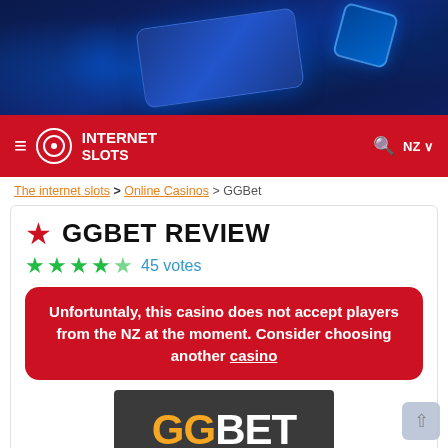[Figure (screenshot): Dark blue banner with casino/gaming imagery — glowing card and dice graphics on dark navy background]
INTERNET SLOTS — navigation bar with hamburger menu, logo, search icon, NZ country selector
The internet slots > Online Casinos > GGBet
★ GGBET REVIEW
★★★★☆ 45 votes
Unfortuntaly, this casino does not accept players from the NZ at the moment. Consider choosing another casino
[Figure (logo): GGBet logo — orange GG letters and white BET letters on dark grey background]